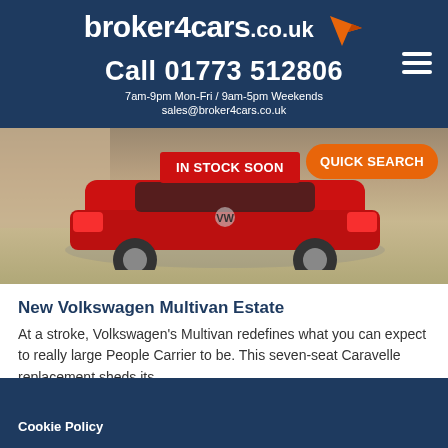broker4cars.co.uk
Call 01773 512806
7am-9pm Mon-Fri / 9am-5pm Weekends
sales@broker4cars.co.uk
[Figure (photo): Red Volkswagen vehicle photographed from rear, parked on brick pavers near a stone wall. Two overlay badges: 'IN STOCK SOON' in red and 'QUICK SEARCH' in orange.]
New Volkswagen Multivan Estate
At a stroke, Volkswagen's Multivan redefines what you can expect to really large People Carrier to be. This seven-seat Caravelle replacement sheds its...
Cookie Policy